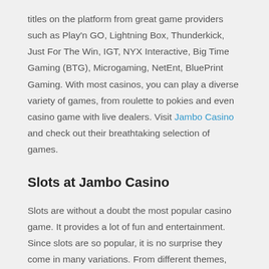titles on the platform from great game providers such as Play'n GO, Lightning Box, Thunderkick, Just For The Win, IGT, NYX Interactive, Big Time Gaming (BTG), Microgaming, NetEnt, BluePrint Gaming. With most casinos, you can play a diverse variety of games, from roulette to pokies and even casino game with live dealers. Visit Jambo Casino and check out their breathtaking selection of games.
Slots at Jambo Casino
Slots are without a doubt the most popular casino game. It provides a lot of fun and entertainment. Since slots are so popular, it is no surprise they come in many variations. From different themes, symbols, funtions, graphic and profit opportunities to name a few.
As more slots are being created, the market is getting flooded. The